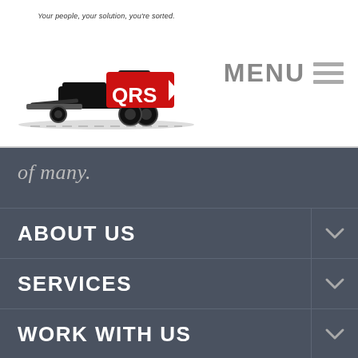[Figure (logo): QRS Quality Roads and Services (Waikato) Limited logo with road grader illustration and tagline 'Your people, your solution, you're sorted.']
MENU
of many.
ABOUT US
SERVICES
WORK WITH US
COUNCIL & COMMUNITY